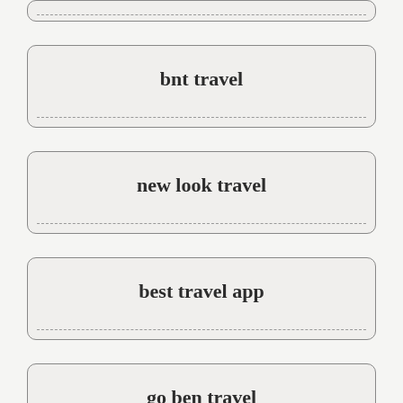(partial card top)
bnt travel
new look travel
best travel app
go ben travel